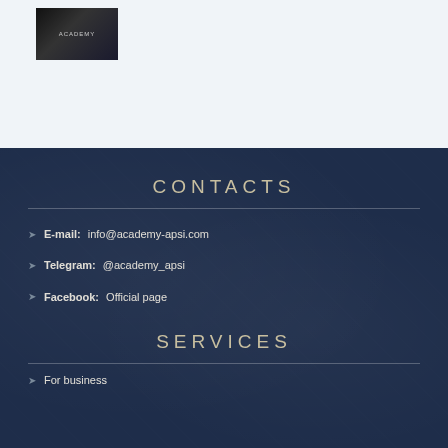[Figure (photo): Small dark image of academy logo/photo in top left area]
CONTACTS
E-mail: info@academy-apsi.com
Telegram: @academy_apsi
Facebook: Official page
SERVICES
For business